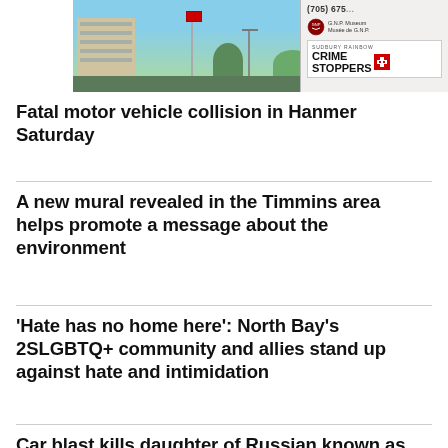[Figure (photo): Photo of a building with a Canadian flag and a sign for Sudbury Rainbow Crime Stoppers]
Fatal motor vehicle collision in Hanmer Saturday
A new mural revealed in the Timmins area helps promote a message about the environment
'Hate has no home here': North Bay's 2SLGBTQ+ community and allies stand up against hate and intimidation
Car blast kills daughter of Russian known as 'Putin's brain'